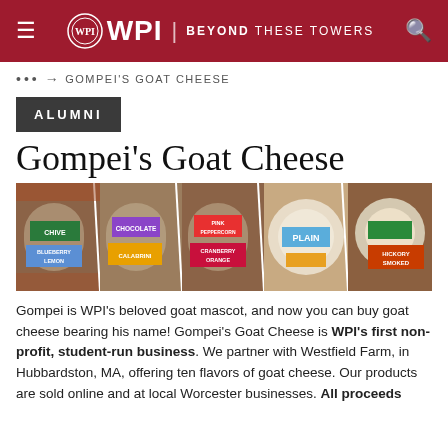≡  WPI | BEYOND THESE TOWERS  🔍
••• → GOMPEI'S GOAT CHEESE
ALUMNI
Gompei's Goat Cheese
[Figure (photo): Strip of five goat cheese product images showing flavors: Chive, Blueberry Lemon, Chocolate, Calabrini, Pink Peppercorn, Cranberry Orange, Plain, Hickory Smoked]
Gompei is WPI's beloved goat mascot, and now you can buy goat cheese bearing his name! Gompei's Goat Cheese is WPI's first non-profit, student-run business. We partner with Westfield Farm, in Hubbardston, MA, offering ten flavors of goat cheese. Our products are sold online and at local Worcester businesses. All proceeds